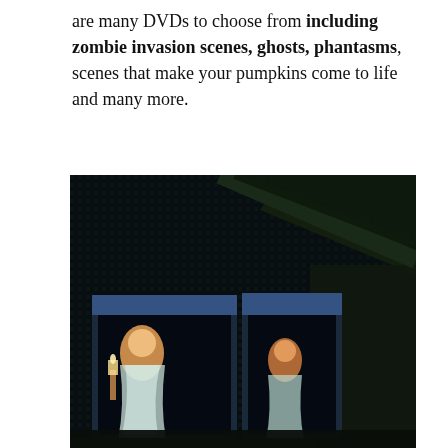are many DVDs to choose from including zombie invasion scenes, ghosts, phantasms, scenes that make your pumpkins come to life and many more.
[Figure (photo): A dark nighttime photo of the exterior of a building showing two windows illuminated in blue light. Through the windows, two glowing ghost-like figures in flowing white garments are visible, creating a haunted house Halloween display effect.]